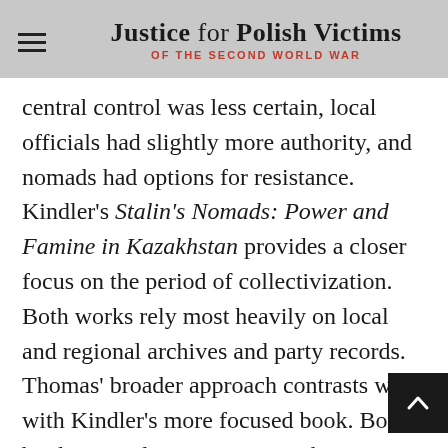Justice for Polish Victims OF THE SECOND WORLD WAR
central control was less certain, local officials had slightly more authority, and nomads had options for resistance. Kindler's Stalin's Nomads: Power and Famine in Kazakhstan provides a closer focus on the period of collectivization. Both works rely most heavily on local and regional archives and party records. Thomas' broader approach contrasts well with Kindler's more focused book. Both books provide important insights